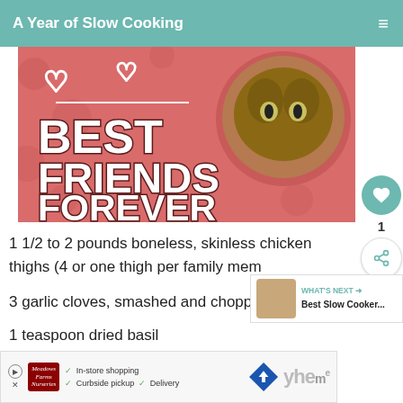A Year of Slow Cooking
[Figure (illustration): Pink promotional image with 'BEST FRIENDS FOREVER' text in bold white/dark letters, hearts, and a tabby cat photo in a circular frame on the right side.]
1 1/2 to 2 pounds boneless, skinless chicken thighs (4 or one thigh per family mem...
3 garlic cloves, smashed and chopped
1 teaspoon dried basil
[Figure (photo): Ad banner: Meadows Farms Nurseries logo with checkmarks for In-store shopping, Curbside pickup, Delivery, and navigation direction icon.]